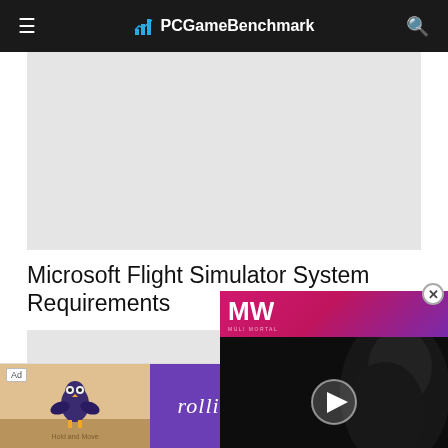PCGameBenchmark
[Figure (other): Gray advertisement placeholder banner at top of page]
Microsoft Flight Simulator System Requirements
[Figure (other): Gray advertisement placeholder panel]
[Figure (other): Video overlay panel showing MW logo in pink/purple gradient header, dark background with play button, text reading 'EMBRACER GROUP BUY LOTR RIGHTS', with a close X button]
[Figure (other): Bottom advertisement banner for Rollic game 'They Are Coming!' with Ad label, game image, Rollic logo, tagline and Download button]